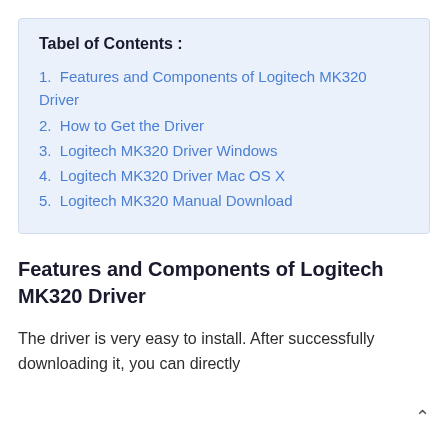Tabel of Contents :
1. Features and Components of Logitech MK320 Driver
2. How to Get the Driver
3. Logitech MK320 Driver Windows
4. Logitech MK320 Driver Mac OS X
5. Logitech MK320 Manual Download
Features and Components of Logitech MK320 Driver
The driver is very easy to install. After successfully downloading it, you can directly